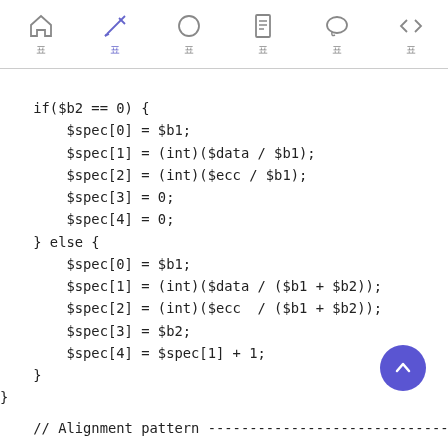Navigation bar with icons: home, edit (active), circle, document, chat, code
if($b2 == 0) {
    $spec[0] = $b1;
    $spec[1] = (int)($data / $b1);
    $spec[2] = (int)($ecc / $b1);
    $spec[3] = 0;
    $spec[4] = 0;
} else {
    $spec[0] = $b1;
    $spec[1] = (int)($data / ($b1 + $b2));
    $spec[2] = (int)($ecc  / ($b1 + $b2));
    $spec[3] = $b2;
    $spec[4] = $spec[1] + 1;
}
}
// Alignment pattern -----------------------------------------------
// Positions of alignment patterns.
// This array includes only the second and the third p
// alignment patterns. Rest of them can be calculated
// between them.
// See Table 1 in Appendix E (pp.71) of JIS X0510:20